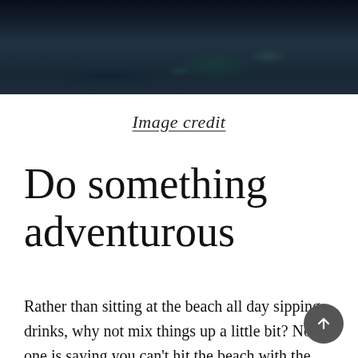[Figure (photo): Dark night sky or water landscape photo, cropped at top of page showing bottom portion of image with dark tones and subtle green reflections]
Image credit
Do something adventurous
Rather than sitting at the beach all day sipping drinks, why not mix things up a little bit? No one is saying you can’t hit the beach with the family, that’s almost obligatory, but why not also do something else? Like trying something more sporty, like kayaking which always serves